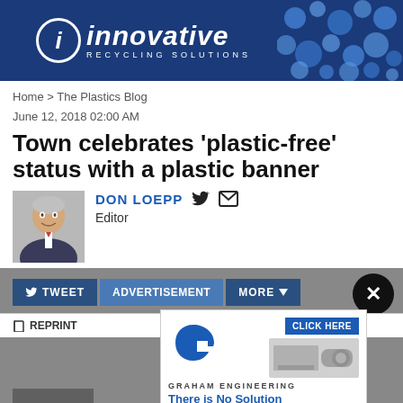[Figure (logo): Innovative Recycling Solutions logo banner with dark blue background and decorative photo of blue spheres on right]
Home > The Plastics Blog
June 12, 2018 02:00 AM
Town celebrates 'plastic-free' status with a plastic banner
DON LOEPP  Editor
[Figure (photo): Headshot of Don Loepp, male editor in suit]
TWEET  ADVERTISEMENT  MORE
REPRINT
[Figure (screenshot): Graham Engineering advertisement overlay with logo, machine image, CLICK HERE button, and tagline There is No Solution Too Big or Too Small]
or a our town